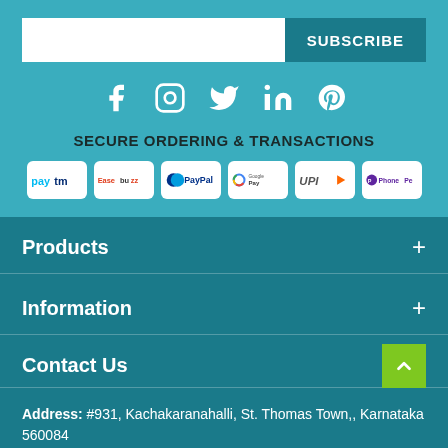[Figure (infographic): Subscribe input bar with teal SUBSCRIBE button]
[Figure (infographic): Social media icons: Facebook, Instagram, Twitter, LinkedIn, Pinterest on teal background]
SECURE ORDERING & TRANSACTIONS
[Figure (infographic): Payment logos: Paytm, Easebuzz, PayPal, Google Pay, UPI, PhonePe]
Products
Information
Contact Us
Address: #931, Kachakaranahalli, St. Thomas Town,, Karnataka 560084